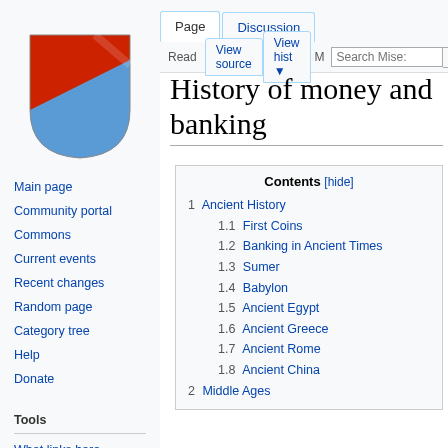Log in
[Figure (logo): Wikimedia shield logo with blue and red diagonal stripe]
Page | Discussion | Read | View source | View hist | Search Mise:
History of money and banking
Main page
Community portal
Commons
Current events
Recent changes
Random page
Category tree
Help
Donate
Tools
What links here
Related changes
Special pages
| Contents [hide] |
| --- |
| 1  Ancient History |
| 1.1  First Coins |
| 1.2  Banking in Ancient Times |
| 1.3  Sumer |
| 1.4  Babylon |
| 1.5  Ancient Egypt |
| 1.6  Ancient Greece |
| 1.7  Ancient Rome |
| 1.8  Ancient China |
| 2  Middle Ages |